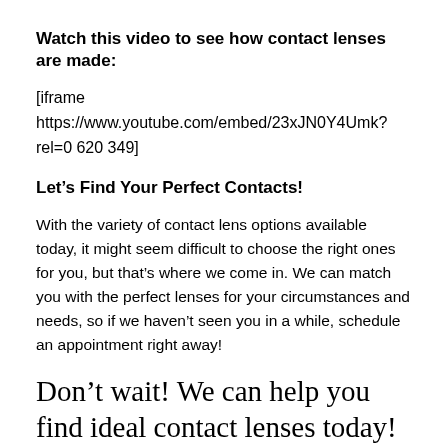Watch this video to see how contact lenses are made:
[iframe https://www.youtube.com/embed/23xJN0Y4Umk?rel=0 620 349]
Let’s Find Your Perfect Contacts!
With the variety of contact lens options available today, it might seem difficult to choose the right ones for you, but that’s where we come in. We can match you with the perfect lenses for your circumstances and needs, so if we haven’t seen you in a while, schedule an appointment right away!
Don’t wait! We can help you find ideal contact lenses today!
For a long time, Flickr was the number one photo sharing...